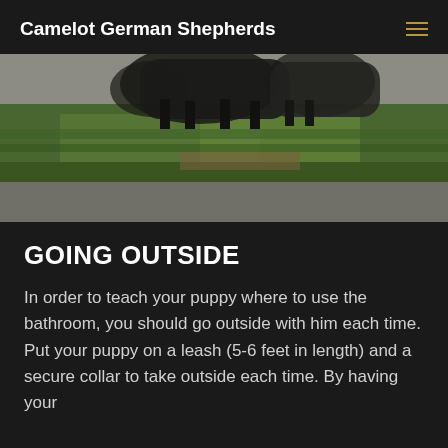Camelot German Shepherds
[Figure (photo): Photo of German Shepherd puppies walking on grass and gravel, viewed from ground level]
GOING OUTSIDE
In order to teach your puppy where to use the bathroom, you should go outside with him each time. Put your puppy on a leash (5-6 feet in length) and a secure collar to take outside each time. By having your